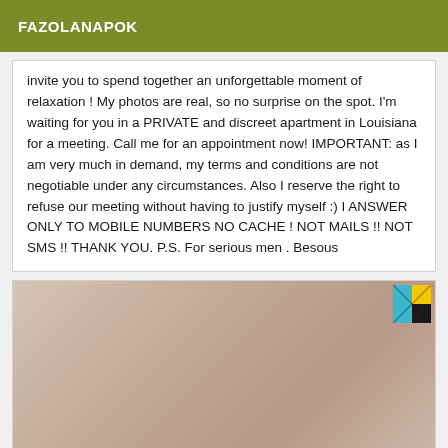FAZOLANAPOK
invite you to spend together an unforgettable moment of relaxation ! My photos are real, so no surprise on the spot. I'm waiting for you in a PRIVATE and discreet apartment in Louisiana for a meeting. Call me for an appointment now! IMPORTANT: as I am very much in demand, my terms and conditions are not negotiable under any circumstances. Also I reserve the right to refuse our meeting without having to justify myself :) I ANSWER ONLY TO MOBILE NUMBERS NO CACHE ! NOT MAILS !! NOT SMS !! THANK YOU. P.S. For serious men . Besous
[Figure (photo): Partial view of a person's body, close-up skin tone image with a small colored element visible in corner area]